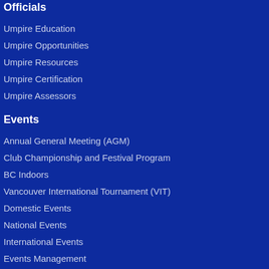Officials
Umpire Education
Umpire Opportunities
Umpire Resources
Umpire Certification
Umpire Assessors
Events
Annual General Meeting (AGM)
Club Championship and Festival Program
BC Indoors
Vancouver International Tournament (VIT)
Domestic Events
National Events
International Events
Events Management